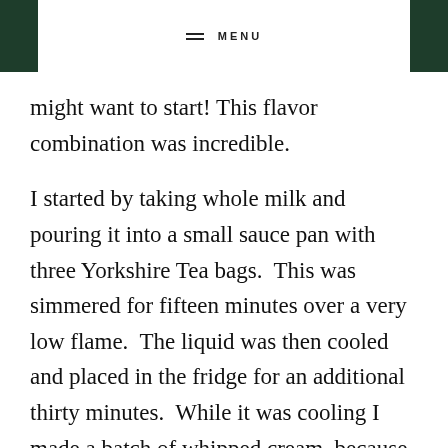MENU
might want to start! This flavor combination was incredible.
I started by taking whole milk and pouring it into a small sauce pan with three Yorkshire Tea bags.  This was simmered for fifteen minutes over a very low flame.  The liquid was then cooled and placed in the fridge for an additional thirty minutes.  While it was cooling I made a batch of whipped cream, because